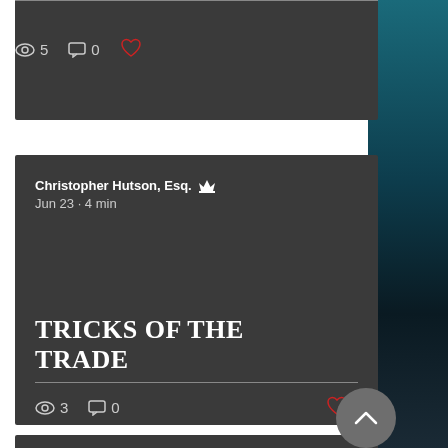5 views  0 comments
Christopher Hutson, Esq. [admin]  Jun 23 · 4 min
TRICKS OF THE TRADE
3 views  0 comments